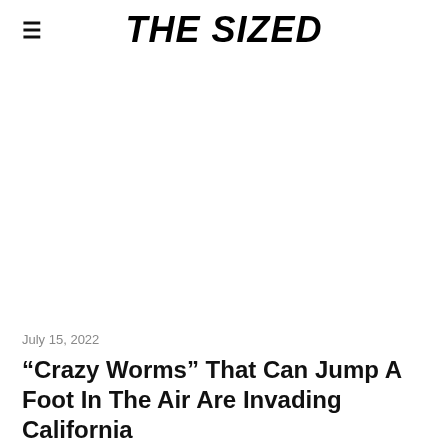THE SIZED
July 15, 2022
“Crazy Worms” That Can Jump A Foot In The Air Are Invading California